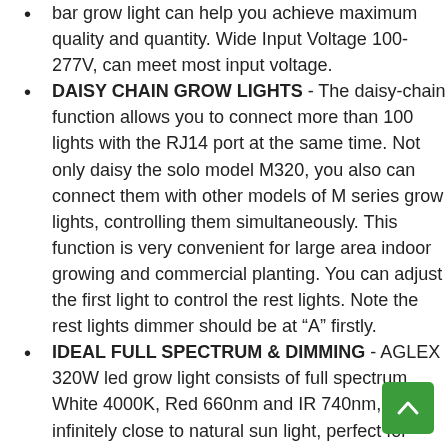bar grow light can help you achieve maximum quality and quantity. Wide Input Voltage 100-277V, can meet most input voltage.
DAISY CHAIN GROW LIGHTS - The daisy-chain function allows you to connect more than 100 lights with the RJ14 port at the same time. Not only daisy the solo model M320, you also can connect them with other models of M series grow lights, controlling them simultaneously. This function is very convenient for large area indoor growing and commercial planting. You can adjust the first light to control the rest lights. Note the rest lights dimmer should be at “A” firstly.
IDEAL FULL SPECTRUM & DIMMING - AGLEX 320W led grow light consists of full spectrum White 4000K, Red 660nm and IR 740nm, is infinitely close to natural sun light, perfect for seeding to flowering, applied to the whole stages of indoor growing plant. Growing lamp 320w